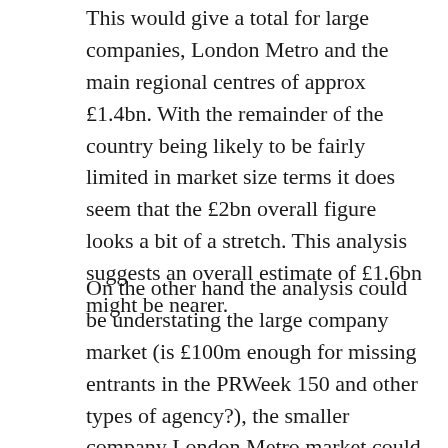This would give a total for large companies, London Metro and the main regional centres of approx £1.4bn. With the remainder of the country being likely to be fairly limited in market size terms it does seem that the £2bn overall figure looks a bit of a stretch. This analysis suggests an overall estimate of £1.6bn might be nearer.
On the other hand the analysis could be understating the large company market (is £100m enough for missing entrants in the PRWeek 150 and other types of agency?), the smaller company London Metro market could be substantially more than £200m (do the PRWeek entrants count for less than 50 per